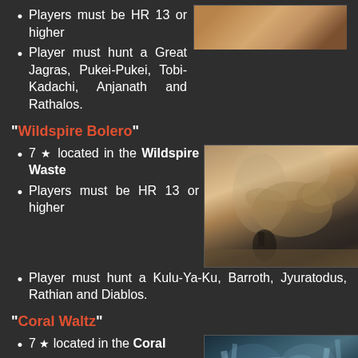Players must be HR 13 or higher
Player must hunt a Great Jagras, Pukei-Pukei, Tobi-Kadachi, Anjanath and Rathalos.
[Figure (photo): Game screenshot showing a monster battle scene in sandy/rocky terrain (top, cropped)]
"Wildspire Bolero"
[Figure (photo): Game screenshot showing a large dragon monster in the Wildspire Waste desert environment with a hunter]
7 ★ located in the Wildspire Waste
Players must be HR 13 or higher
Player must hunt a Kulu-Ya-Ku, Barroth, Jyuratodus, Rathian and Diablos.
"Coral Waltz"
[Figure (photo): Game screenshot showing a monster battle in the Coral Highlands environment]
7 ★ located in the Coral Highlands